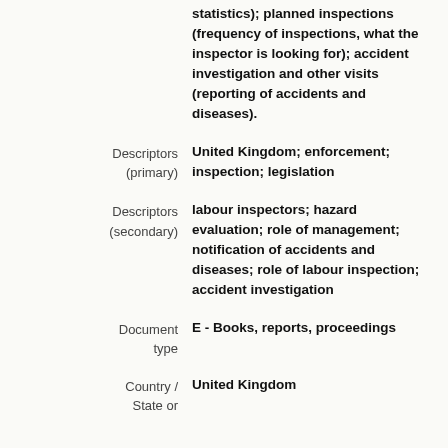statistics); planned inspections (frequency of inspections, what the inspector is looking for); accident investigation and other visits (reporting of accidents and diseases).
Descriptors (primary): United Kingdom; enforcement; inspection; legislation
Descriptors (secondary): labour inspectors; hazard evaluation; role of management; notification of accidents and diseases; role of labour inspection; accident investigation
Document type: E - Books, reports, proceedings
Country / State or